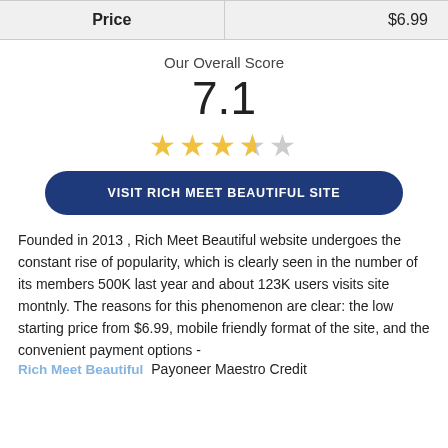| Price | $6.99 |
| --- | --- |
Our Overall Score
7.1
[Figure (other): 4.5 out of 5 stars rating display with filled and empty stars]
VISIT RICH MEET BEAUTIFUL SITE
Founded in 2013 , Rich Meet Beautiful website undergoes the constant rise of popularity, which is clearly seen in the number of its members 500K last year and about 123K users visits site montnly. The reasons for this phenomenon are clear: the low starting price from $6.99, mobile friendly format of the site, and the convenient payment options - Payoneer Maestro Credit
Rich Meet Beautiful